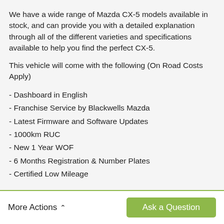We have a wide range of Mazda CX-5 models available in stock, and can provide you with a detailed explanation through all of the different varieties and specifications available to help you find the perfect CX-5.
This vehicle will come with the following (On Road Costs Apply)
- Dashboard in English
- Franchise Service by Blackwells Mazda
- Latest Firmware and Software Updates
- 1000km RUC
- New 1 Year WOF
- 6 Months Registration & Number Plates
- Certified Low Mileage
More Actions  Ask a Question